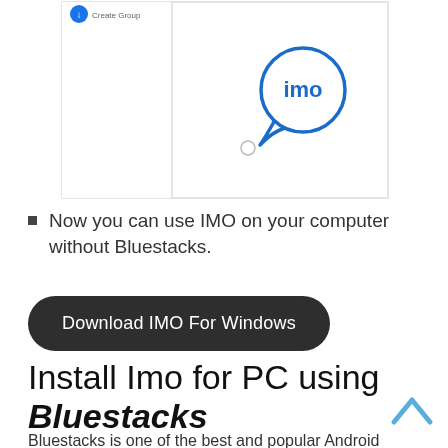[Figure (screenshot): Screenshot of IMO app interface showing IMO chat bubble logo in center panel with a sidebar panel on the left showing a blue circle icon and 'Create Group' text. A small radio/circle element is visible in the lower center area.]
Now you can use IMO on your computer without Bluestacks.
Download IMO For Windows
Install Imo for PC using Bluestacks
Bluestacks is one of the best and popular Android emulator to install android applications. It is too